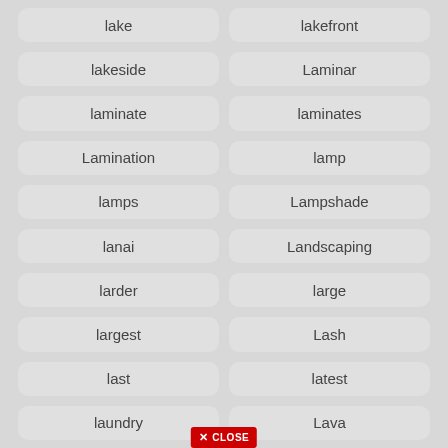lake
lakefront
lakeside
Laminar
laminate
laminates
Lamination
lamp
lamps
Lampshade
lanai
Landscaping
larder
large
largest
Lash
last
latest
laundry
Lava